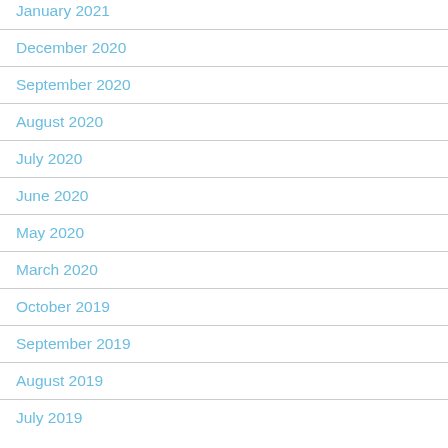January 2021
December 2020
September 2020
August 2020
July 2020
June 2020
May 2020
March 2020
October 2019
September 2019
August 2019
July 2019